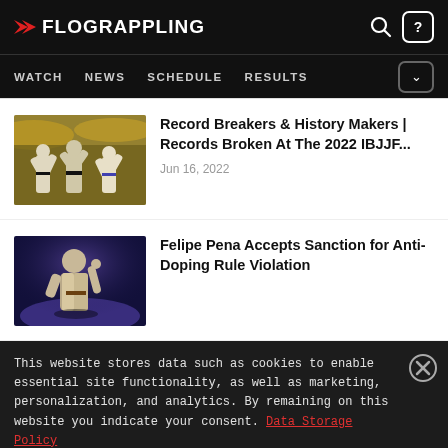FLOGRAPPLING — WATCH NEWS SCHEDULE RESULTS
Record Breakers & History Makers | Records Broken At The 2022 IBJJF...
Jun 16, 2022
Felipe Pena Accepts Sanction for Anti-Doping Rule Violation
This website stores data such as cookies to enable essential site functionality, as well as marketing, personalization, and analytics. By remaining on this website you indicate your consent. Data Storage Policy